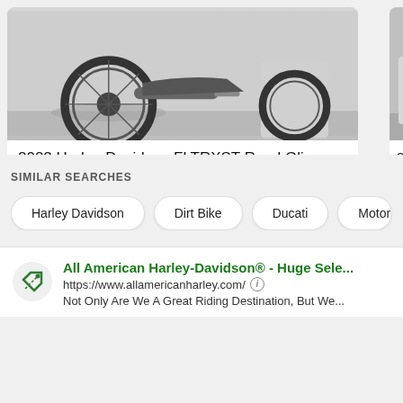[Figure (photo): Photo of 2022 Harley-Davidson FLTRXST Road Glide motorcycle, showing the rear wheel and undercarriage on a concrete floor. Partially visible second motorcycle on the right.]
2022 Harley-Davidson FLTRXST Road Gli...
1 km
2022 HARLEY DAVIDSON ROAD GLIDE SPECI...
$45,995  Drive Away^
Kunda Park, QLD • 1d
2022 Harley...
18 km
2022 HARLEY...
$46,400  Dr...
Kunda Park, QL...
SIMILAR SEARCHES
Harley Davidson
Dirt Bike
Ducati
Motorb...
All American Harley-Davidson® - Huge Sele...
https://www.allamericanharley.com/
Not Only Are We A Great Riding Destination, But We...